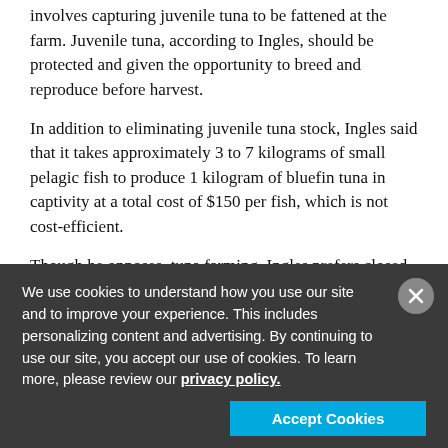involves capturing juvenile tuna to be fattened at the farm. Juvenile tuna, according to Ingles, should be protected and given the opportunity to breed and reproduce before harvest.
In addition to eliminating juvenile tuna stock, Ingles said that it takes approximately 3 to 7 kilograms of small pelagic fish to produce 1 kilogram of bluefin tuna in captivity at a total cost of $150 per fish, which is not cost-efficient.
Though he opposes  tuna farming, Ingles prefers closed-cycle tuna aquaculture, which involves fertilization of tuna eggs in captivity. He endorses Kindai University in Japan, which has successfully completed a closed-cycle bluefin farming operation in 2002, and Australia's Clean Seas Tuna, which experimented with bluefin farming before entering a partnership with Kindai.
We use cookies to understand how you use our site and to improve your experience. This includes personalizing content and advertising. By continuing to use our site, you accept our use of cookies. To learn more, please review our privacy policy.